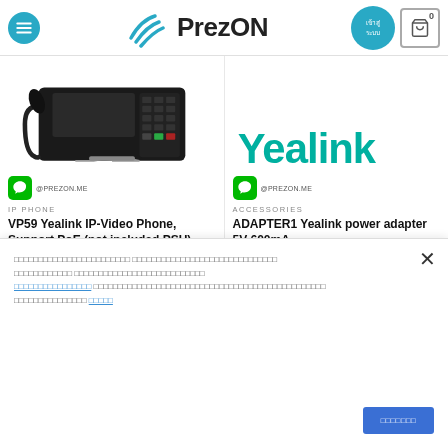PrezON
[Figure (photo): Black Yealink VP59 IP video desk phone with handset]
[Figure (logo): Yealink brand logo in teal/green color]
IP PHONE
VP59 Yealink IP-Video Phone, Support PoE (not included PSU)
฿28,400.00  ฿26,400.00
ACCESSORIES
ADAPTER1 Yealink power adapter 5V 600mA
฿217.50  ฿172.50
Cookie consent notice in Thai language with accept button